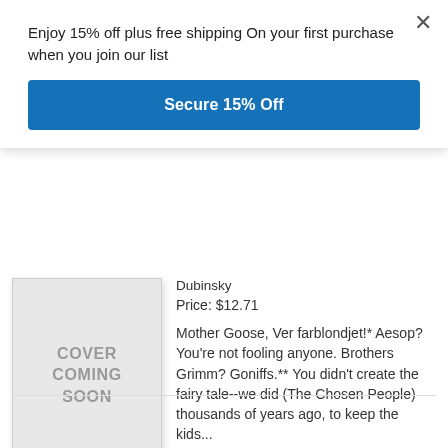Enjoy 15% off plus free shipping On your first purchase when you join our list
Secure 15% Off
Dubinsky
Price: $12.71
[Figure (illustration): Book cover placeholder showing text COVER COMING SOON on grey background]
Mother Goose, Ver farblondjet!* Aesop? You’re not fooling anyone. Brothers Grimm? Goniffs.** You didn't create the fairy tale--we did (The Chosen People) thousands of years ago, to keep the kids...